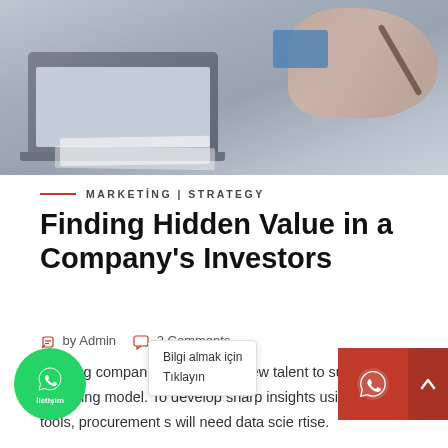[Figure (photo): Office desk scene with laptop, papers, and a hand holding a pen, viewed from above]
MARKETING | STRATEGY
Finding Hidden Value in a Company's Investors
by Admin   2 Comments
Leading companies are adding new talent to support a digital operating model. To develop sharp insights using digital tools, procurement s will need data scie rtise.
Bilgi almak için
Tıklayın